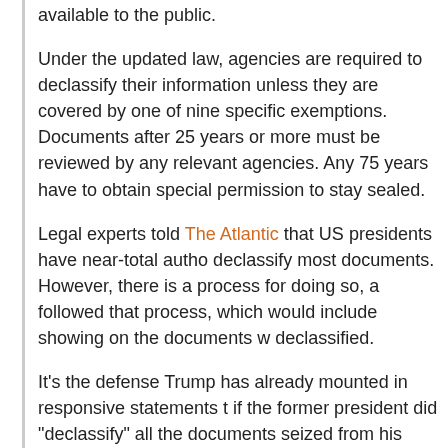available to the public.
Under the updated law, agencies are required to declassify their information unless they are covered by one of nine specific exemptions. Documents after 25 years or more must be reviewed by any relevant agencies. Any 75 years have to obtain special permission to stay sealed.
Legal experts told The Atlantic that US presidents have near-total authority to declassify most documents. However, there is a process for doing so, and followed that process, which would include showing on the documents when declassified.
It's the defense Trump has already mounted in responsive statements to if the former president did "declassify" all the documents seized from his experts told NBC News, that it might not matter when it comes to potentially down the road.
For one, presidents cannot declassify nuclear secrets; that information i And The Washington Post reported late Thursday that the FBI was specially classified documents containing nuclear information during the raid.
Read the original article on Business Insider
'Aspiring Proud Boy' who told his probation officer he was handing out Bibles on January 6 is se